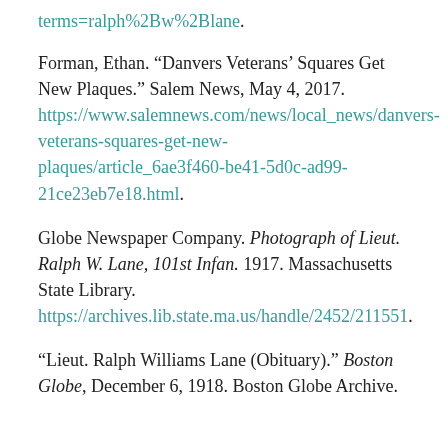terms=ralph%2Bw%2Blane.
Forman, Ethan. “Danvers Veterans’ Squares Get New Plaques.” Salem News, May 4, 2017. https://www.salemnews.com/news/local_news/danvers-veterans-squares-get-new-plaques/article_6ae3f460-be41-5d0c-ad99-21ce23eb7e18.html.
Globe Newspaper Company. Photograph of Lieut. Ralph W. Lane, 101st Infan. 1917. Massachusetts State Library. https://archives.lib.state.ma.us/handle/2452/211551.
“Lieut. Ralph Williams Lane (Obituary).” Boston Globe, December 6, 1918. Boston Globe Archive.